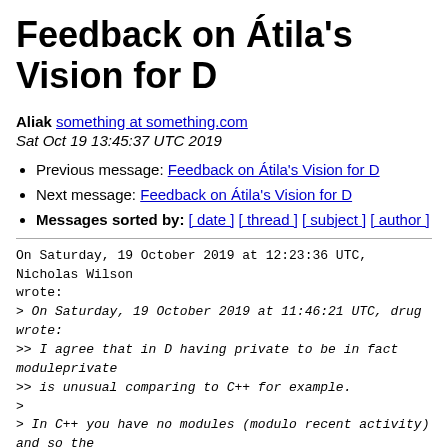Feedback on Átila's Vision for D
Aliak something at something.com
Sat Oct 19 13:45:37 UTC 2019
Previous message: Feedback on Átila's Vision for D
Next message: Feedback on Átila's Vision for D
Messages sorted by: [ date ] [ thread ] [ subject ] [ author ]
On Saturday, 19 October 2019 at 12:23:36 UTC, Nicholas Wilson
wrote:
> On Saturday, 19 October 2019 at 11:46:21 UTC, drug wrote:
>> I agree that in D having private to be in fact moduleprivate
>> is unusual comparing to C++ for example.
>
> In C++ you have no modules (modulo recent activity) and so the
> class is the only unit of encapsulation that there is apart
> from namespaces. In Java there you can only have a